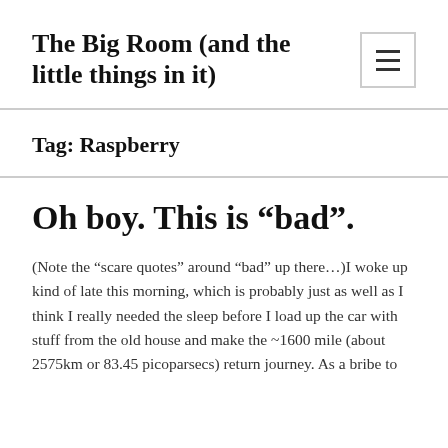The Big Room (and the little things in it)
Tag: Raspberry
Oh boy. This is “bad”.
(Note the “scare quotes” around “bad” up there…)I woke up kind of late this morning, which is probably just as well as I think I really needed the sleep before I load up the car with stuff from the old house and make the ~1600 mile (about 2575km or 83.45 picoparsecs) return journey. As a bribe to